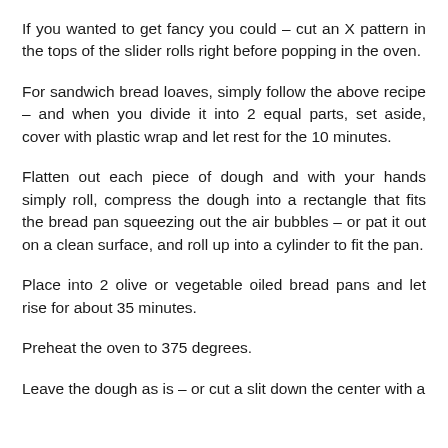If you wanted to get fancy you could – cut an X pattern in the tops of the slider rolls right before popping in the oven.
For sandwich bread loaves, simply follow the above recipe – and when you divide it into 2 equal parts, set aside, cover with plastic wrap and let rest for the 10 minutes.
Flatten out each piece of dough and with your hands simply roll, compress the dough into a rectangle that fits the bread pan squeezing out the air bubbles – or pat it out on a clean surface, and roll up into a cylinder to fit the pan.
Place into 2 olive or vegetable oiled bread pans and let rise for about 35 minutes.
Preheat the oven to 375 degrees.
Leave the dough as is – or cut a slit down the center with a